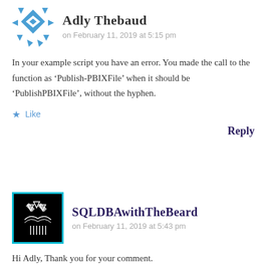Adly Thebaud
on February 11, 2019 at 5:15 pm
In your example script you have an error. You made the call to the function as ‘Publish-PBIXFile’ when it should be ‘PublishPBIXFile’, without the hyphen.
Like
Reply
SQLDBAwithTheBeard
on February 11, 2019 at 5:43 pm
Hi Adly, Thank you for your comment.
The function name is Publish-PBIXFile but the name of the script file in the PowerShell gallery is PublishPBIXFile